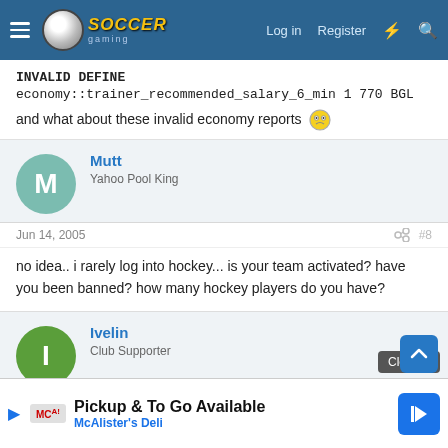Soccer Gaming forum header with logo, Log in, Register, and search icons
INVALID DEFINE
economy::trainer_recommended_salary_6_min 1 770 BGL

and what about these invalid economy reports 😵
Mutt - Yahoo Pool King
Jun 14, 2005 #8
no idea.. i rarely log into hockey... is your team activated? have you been banned? how many hockey players do you have?
Ivelin - Club Supporter
Jun 14, 2005 #9
i activat... up with
[Figure (screenshot): Advertisement overlay: Pickup & To Go Available - McAlister's Deli with Close X button and scroll-up arrow]